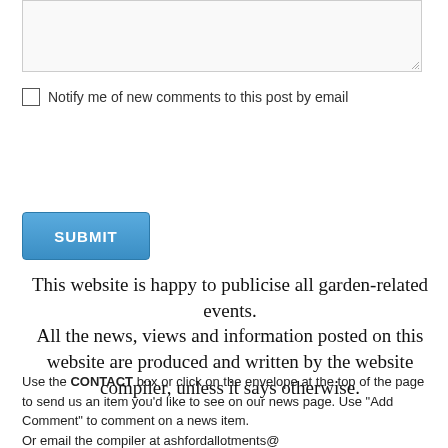[Figure (screenshot): A textarea input box with a resize handle in the bottom-right corner]
Notify me of new comments to this post by email
[Figure (screenshot): A blue SUBMIT button]
This website is happy to publicise all garden-related events.
All the news, views and information posted on this website are produced and written by the website compiler, unless it says otherwise.
Use the CONTACT box or click on the envelope at the top of the page to send us an item you'd like to see on our news page. Use "Add Comment" to comment on a news item.
Or email the compiler at ashfordallotments@
yahoo.co.uk